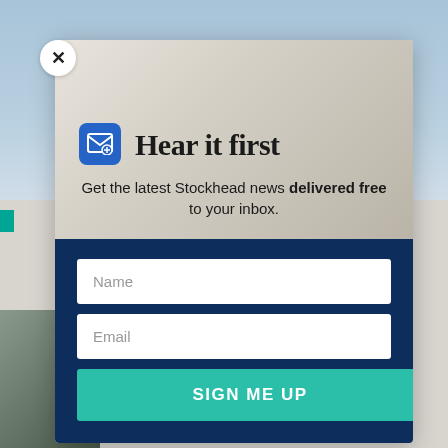[Figure (screenshot): Website background with photo of a person and a groundhog article page, partially visible behind a modal dialog.]
[Figure (infographic): Email subscription modal popup. Contains a mail icon, title 'Hear it first', subtitle 'Get the latest Stockhead news delivered free to your inbox.', a Name input field, an Email input field, and a 'SIGN ME UP' button. Background shows a groundhog image.]
Hear it first
Get the latest Stockhead news delivered free to your inbox.
Name
Email
SIGN ME UP